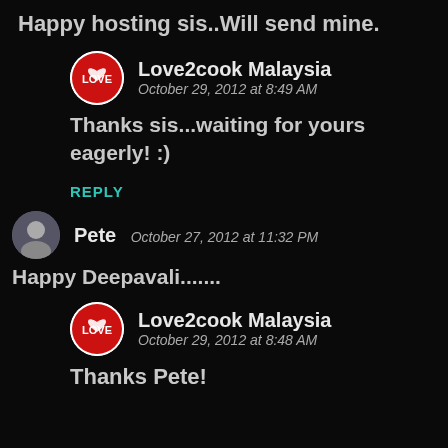Happy hosting sis..Will send mine.
Love2cook Malaysia
October 29, 2012 at 8:49 AM
Thanks sis...waiting for yours eagerly! :)
REPLY
Pete  October 27, 2012 at 11:32 PM
Happy Deepavali.......
Love2cook Malaysia
October 29, 2012 at 8:48 AM
Thanks Pete!